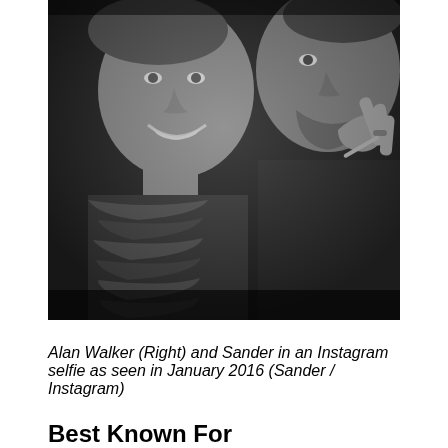[Figure (photo): Black and white Instagram selfie showing two young men. The man on the left is smiling broadly and wearing a patterned scarf. The man on the right is making a hand gesture near his face and has a beard. The photo is taken from close up.]
Alan Walker (Right) and Sander in an Instagram selfie as seen in January 2016 (Sander / Instagram)
Best Known For